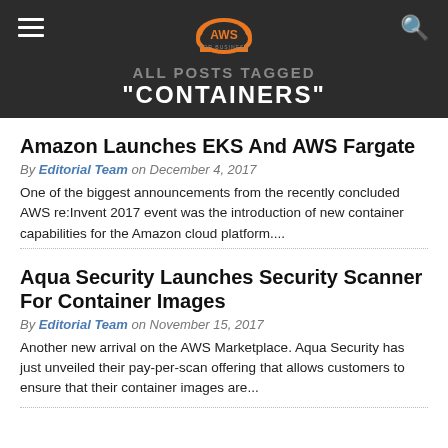ALL POSTS TAGGED "CONTAINERS"
Amazon Launches EKS And AWS Fargate
By Editorial Team on December 4, 2017
One of the biggest announcements from the recently concluded AWS re:Invent 2017 event was the introduction of new container capabilities for the Amazon cloud platform....
Aqua Security Launches Security Scanner For Container Images
By Editorial Team on November 15, 2017
Another new arrival on the AWS Marketplace. Aqua Security has just unveiled their pay-per-scan offering that allows customers to ensure that their container images are...